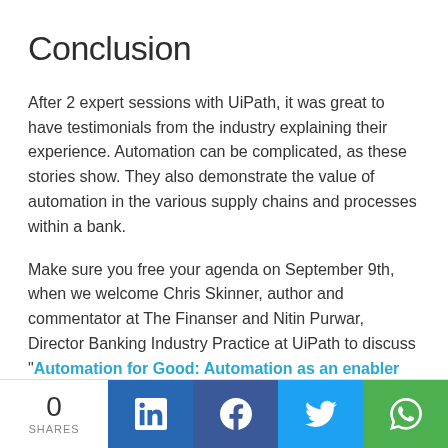Conclusion
After 2 expert sessions with UiPath, it was great to have testimonials from the industry explaining their experience. Automation can be complicated, as these stories show. They also demonstrate the value of automation in the various supply chains and processes within a bank.
Make sure you free your agenda on September 9th, when we welcome Chris Skinner, author and commentator at The Finanser and Nitin Purwar, Director Banking Industry Practice at UiPath to discuss "Automation for Good: Automation as an enabler for ESG and Sustainability in Banks."